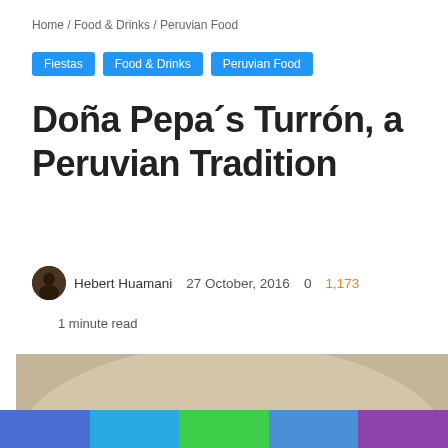Home / Food & Drinks / Peruvian Food
Fiestas
Food & Drinks
Peruvian Food
Doña Pepa´s Turrón, a Peruvian Tradition
Hebert Huamani   27 October, 2016   0   1,173
1 minute read
[Figure (photo): Close-up photo of Doña Pepa Turrón — a rectangular golden nougat/cookie bar topped with colorful sprinkles (candy-coated), on a white plate with an orange/yellow stripe, against a beige/brown blurred background.]